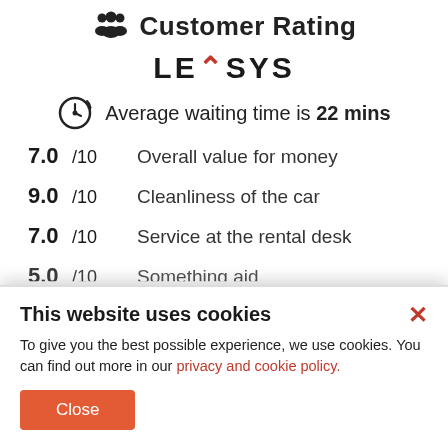Customer Rating
[Figure (logo): LEASYS logo with red chevron/arrow replacing letter A]
Average waiting time is 22 mins
7.0/10   Overall value for money
9.0/10   Cleanliness of the car
7.0/10   Service at the rental desk
5.0/10   (partially visible)
This website uses cookies
To give you the best possible experience, we use cookies. You can find out more in our privacy and cookie policy.
Close